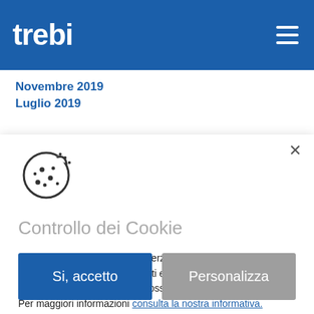trebi
Novembre 2019
Luglio 2019
[Figure (illustration): Cookie icon: a circular cookie outline with bite taken out and small dots scattered on it]
Controllo dei Cookie
Utilizziamo cookie tecnici e di terze parti per analizzare il traffico, personalizzare conenuti e essere sicuri che tu possa avere la migliore esperienza possibile.
Per maggiori informazioni consulta la nostra informativa.
Si, accetto
Personalizza